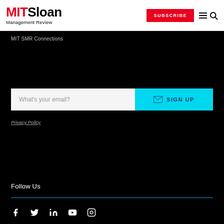MIT Sloan Management Review
MIT SMR Connections
What's your email?
SIGN UP
Privacy Policy
Follow Us